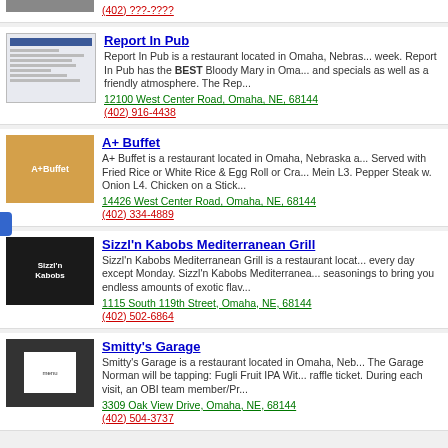(402) ???-???? [partial phone, top]
Report In Pub
Report In Pub is a restaurant located in Omaha, Nebraska... week. Report In Pub has the BEST Bloody Mary in Oma... and specials as well as a friendly atmosphere. The Rep...
12100 West Center Road, Omaha, NE, 68144
(402) 916-4438
A+ Buffet
A+ Buffet is a restaurant located in Omaha, Nebraska a... Served with Fried Rice or White Rice & Egg Roll or Cra... Mein L3. Pepper Steak w. Onion L4. Chicken on a Stick...
14426 West Center Road, Omaha, NE, 68144
(402) 334-4889
Sizzl'n Kabobs Mediterranean Grill
Sizzl'n Kabobs Mediterranean Grill is a restaurant locat... every day except Monday. Sizzl'n Kabobs Mediterranea... seasonings to bring you endless amounts of exotic flav...
1115 South 119th Street, Omaha, NE, 68144
(402) 502-6864
Smitty's Garage
Smitty's Garage is a restaurant located in Omaha, Neb... The Garage Norman will be tapping: Fugli Fruit IPA Wit... raffle ticket. During each visit, an OBI team member/Pr...
3309 Oak View Drive, Omaha, NE, 68144
(402) 504-3737